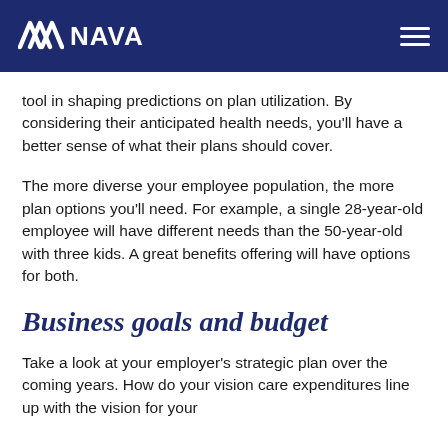NNN NAVA
tool in shaping predictions on plan utilization. By considering their anticipated health needs, you'll have a better sense of what their plans should cover.
The more diverse your employee population, the more plan options you'll need. For example, a single 28-year-old employee will have different needs than the 50-year-old with three kids. A great benefits offering will have options for both.
Business goals and budget
Take a look at your employer's strategic plan over the coming years. How do your vision care expenditures line up with the vision for your